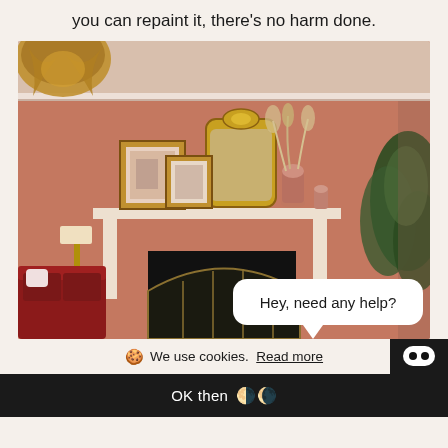you can repaint it, there's no harm done.
[Figure (photo): Interior room photo showing a living room with pink/salmon walls, white fireplace with ornate gold mirror above the mantel, framed artwork, vases with dried flowers, a sofa, and a plant. A chandelier is visible in the upper left. A chat bubble overlay says 'Hey, need any help?']
🍪 We use cookies.  Read more
OK then 🌗🌘